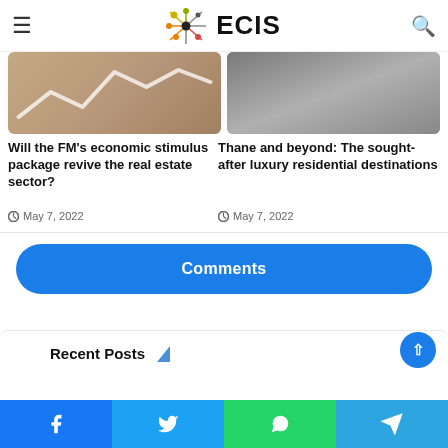ECIS
[Figure (screenshot): Two article card images: left shows a glowing zigzag chart line on warm background, right shows a gray textured metal/surface background]
Will the FM's economic stimulus package revive the real estate sector?
May 7, 2022
Thane and beyond: The sought-after luxury residential destinations
May 7, 2022
Comments
Recent Posts
Facebook  Twitter  WhatsApp  Telegram